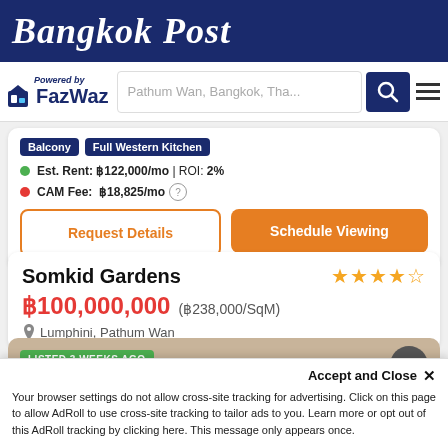Bangkok Post
[Figure (logo): FazWaz logo with search bar showing 'Pathum Wan, Bangkok, Tha...' and navigation icons]
Balcony
Full Western Kitchen
Est. Rent: ฿122,000/mo | ROI: 2%
CAM Fee: ฿18,825/mo
Request Details
Schedule Viewing
Somkid Gardens
฿100,000,000 (฿238,000/SqM)
Lumphini, Pathum Wan
LISTED 3 WEEKS AGO
Accept and Close ✕
Your browser settings do not allow cross-site tracking for advertising. Click on this page to allow AdRoll to use cross-site tracking to tailor ads to you. Learn more or opt out of this AdRoll tracking by clicking here. This message only appears once.